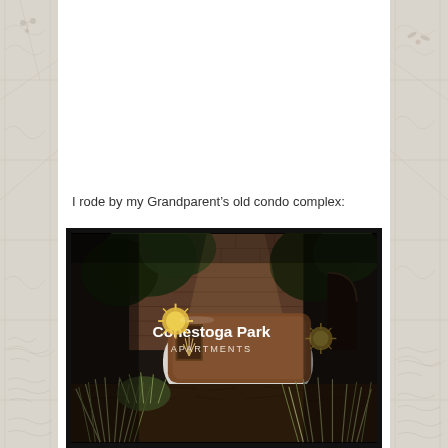I rode by my Grandparent’s old condo complex:
[Figure (photo): Photograph of a sign reading 'Conestoga Park APARTMENTS' at night or dusk, with ornamental grasses and landscaping in the foreground. The sign is a curved brown monument sign with white lettering and a decorative sunburst element. A brick building is visible in the background.]